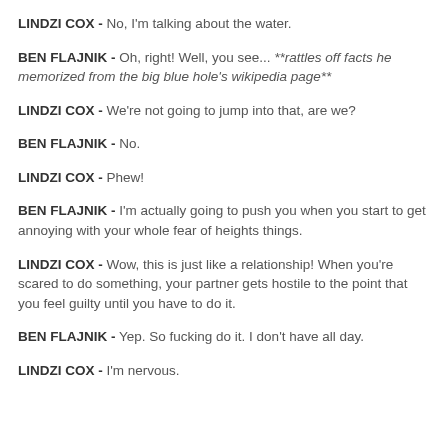LINDZI COX - No, I'm talking about the water.
BEN FLAJNIK - Oh, right! Well, you see... **rattles off facts he memorized from the big blue hole's wikipedia page**
LINDZI COX - We're not going to jump into that, are we?
BEN FLAJNIK  - No.
LINDZI COX  - Phew!
BEN FLAJNIK - I'm actually going to push you when you start to get annoying with your whole fear of heights things.
LINDZI COX - Wow, this is just like a relationship! When you're scared to do something, your partner gets hostile to the point that you feel guilty until you have to do it.
BEN FLAJNIK  - Yep. So fucking do it. I don't have all day.
LINDZI COX - I'm nervous.